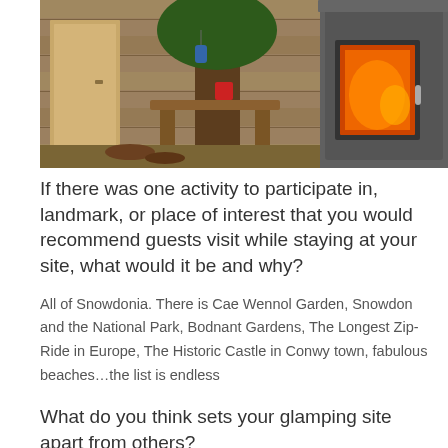[Figure (photo): Interior of a rustic cabin or treehouse showing wooden walls, a wooden table/bench, a lantern, a red candle holder, and a large grey wood-burning stove with glowing fire visible through the door]
If there was one activity to participate in, landmark, or place of interest that you would recommend guests visit while staying at your site, what would it be and why?
All of Snowdonia. There is Cae Wennol Garden, Snowdon and the National Park, Bodnant Gardens, The Longest Zip-Ride in Europe, The Historic Castle in Conwy town, fabulous beaches…the list is endless
What do you think sets your glamping site apart from others?